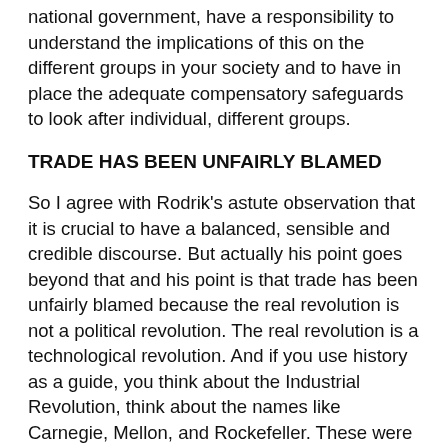national government, have a responsibility to understand the implications of this on the different groups in your society and to have in place the adequate compensatory safeguards to look after individual, different groups.
TRADE HAS BEEN UNFAIRLY BLAMED
So I agree with Rodrik's astute observation that it is crucial to have a balanced, sensible and credible discourse. But actually his point goes beyond that and his point is that trade has been unfairly blamed because the real revolution is not a political revolution. The real revolution is a technological revolution. And if you use history as a guide, you think about the Industrial Revolution, think about the names like Carnegie, Mellon, and Rockefeller. These were the first to adopt the technologies of the day. Carnegie made his fortune in steel, Mellon made his fortune from banking, while Rockefeller made his fortune from oil. Each of them represents the early adopters of new technologies that broke out in their time. They became robber barons